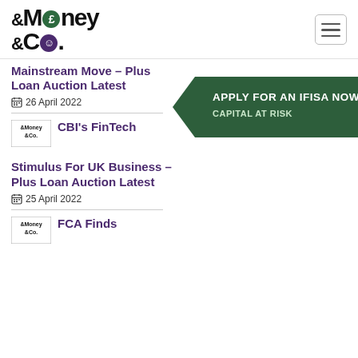Money & Co. logo and navigation
Mainstream Move – Plus Loan Auction Latest
26 April 2022
[Figure (logo): Money & Co. small logo thumbnail]
CBI's FinTech
[Figure (infographic): APPLY FOR AN IFISA NOW - CAPITAL AT RISK green arrow banner]
Stimulus For UK Business – Plus Loan Auction Latest
25 April 2022
[Figure (logo): Money & Co. small logo thumbnail]
FCA Finds